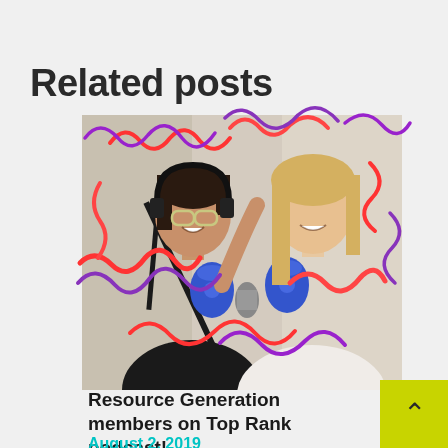Related posts
[Figure (photo): Two women smiling at a podcast recording setup with microphones. One woman on the left wears headphones and a dark top, the other on the right has blonde hair and wears a white shirt. Colorful red and purple squiggly doodles overlay the image.]
Resource Generation members on Top Rank podcast!
August 2, 2019